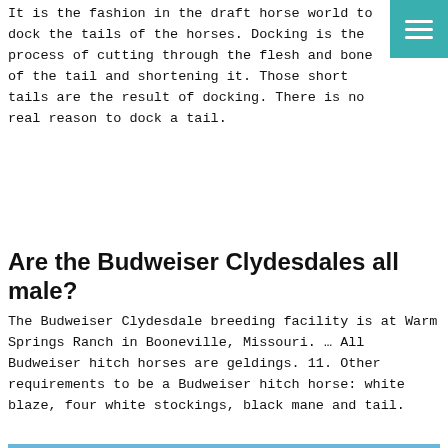It is the fashion in the draft horse world to dock the tails of the horses. Docking is the process of cutting through the flesh and bone of the tail and shortening it. Those short tails are the result of docking. There is no real reason to dock a tail.
Are the Budweiser Clydesdales all male?
The Budweiser Clydesdale breeding facility is at Warm Springs Ranch in Booneville, Missouri. … All Budweiser hitch horses are geldings. 11. Other requirements to be a Budweiser hitch horse: white blaze, four white stockings, black mane and tail.
[Figure (photo): A brown/chestnut Clydesdale horse being held by a man on a green field with mountains and blue sky in the background. A red YouTube play button overlay is shown in the center of the image.]